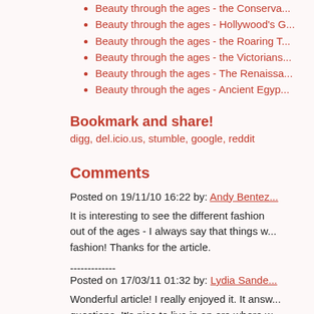Beauty through the ages - the Conserva...
Beauty through the ages - Hollywood's G...
Beauty through the ages - the Roaring T...
Beauty through the ages - the Victorians
Beauty through the ages - The Renaissa...
Beauty through the ages - Ancient Egyp...
Bookmark and share!
digg, del.icio.us, stumble, google, reddit
Comments
Posted on 19/11/10 16:22 by: Andy Bentez
It is interesting to see the different fashion out of the ages - I always say that things w... fashion! Thanks for the article.
-------------
Posted on 17/03/11 01:32 by: Lydia Sande...
Wonderful article! I really enjoyed it. It answ... questions. It's nice to live in an era where w... whatever we want to wear without having t... whether it's in style or not.